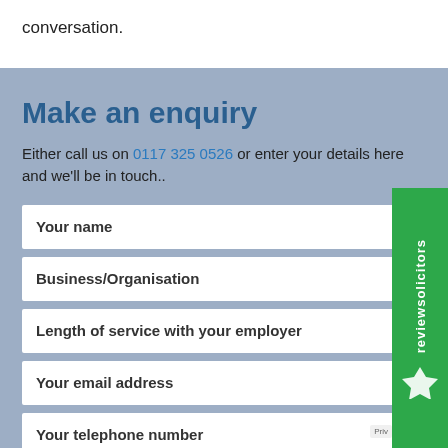conversation.
Make an enquiry
Either call us on 0117 325 0526 or enter your details here and we'll be in touch..
Your name
Business/Organisation
Length of service with your employer
Your email address
Your telephone number